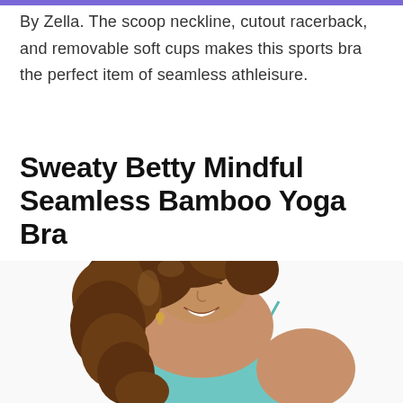By Zella. The scoop neckline, cutout racerback, and removable soft cups makes this sports bra the perfect item of seamless athleisure.
Sweaty Betty Mindful Seamless Bamboo Yoga Bra
[Figure (photo): A woman with curly brown hair wearing a teal yoga bra, smiling with eyes closed and head tilted back against a white background.]